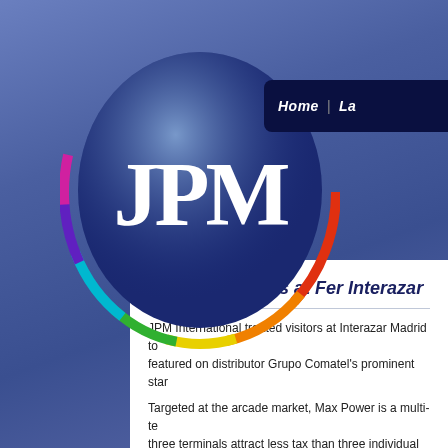[Figure (logo): JPM International logo — a colorful rainbow-rimmed dark blue oval with white JPM lettering in large serif font, set against a blue gradient background]
Home | La
Crystal Sparkles at Fer Interazar
JPM International treated visitors at Interazar Madrid to featured on distributor Grupo Comatel's prominent star
Targeted at the arcade market, Max Power is a multi-te three terminals attract less tax than three individual ma